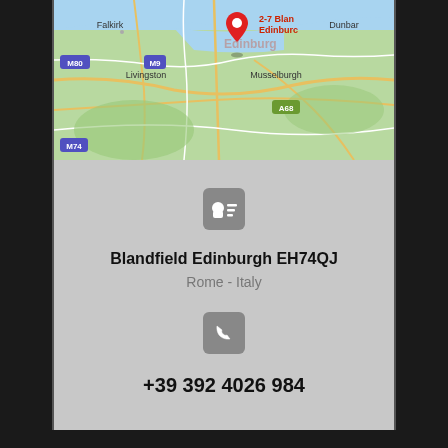[Figure (map): Google Maps screenshot showing Edinburgh area with location pin labeled '2-7 Blandfield Edinburgh'. Visible places include Falkirk, Livingston, Musselburgh, Dunbar. Road labels M80, M9, M74, A68 visible.]
[Figure (other): Contact card icon (person with lines) in dark gray rounded square]
Blandfield Edinburgh EH74QJ
Rome - Italy
[Figure (other): Phone/call icon in dark gray rounded square]
+39 392 4026 984